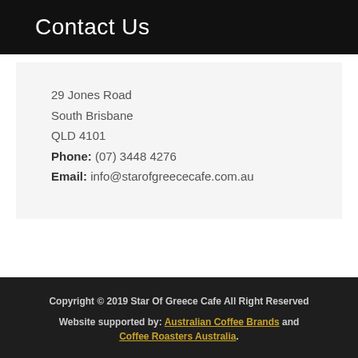Contact Us
29 Jones Road
South Brisbane
QLD 4101
Phone: (07) 3448 4276
Email: info@starofgreececafe.com.au
Copyright © 2019 Star Of Greece Cafe All Right Reserved
Website supported by: Australian Coffee Brands and Coffee Roasters Australia.